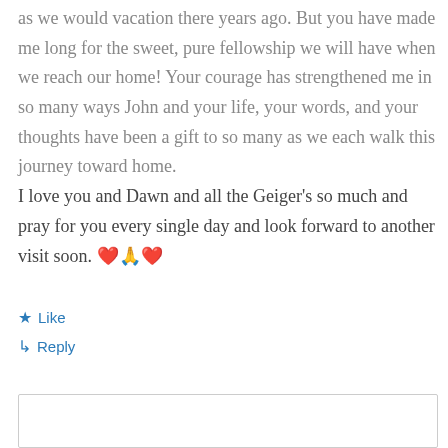as we would vacation there years ago. But you have made me long for the sweet, pure fellowship we will have when we reach our home! Your courage has strengthened me in so many ways John and your life, your words, and your thoughts have been a gift to so many as we each walk this journey toward home.
I love you and Dawn and all the Geiger's so much and pray for you every single day and look forward to another visit soon. ❤️🙏❤️
Like
Reply